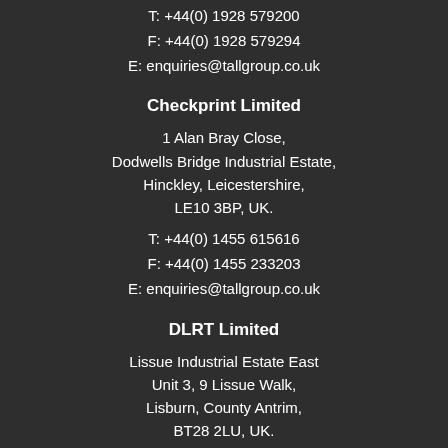T: +44(0) 1928 579200
F: +44(0) 1928 579294
E: enquiries@tallgroup.co.uk
Checkprint Limited
1 Alan Bray Close,
Dodwells Bridge Industrial Estate,
Hinckley, Leicestershire,
LE10 3BP, UK.
T: +44(0) 1455 615616
F: +44(0) 1455 233203
E: enquiries@tallgroup.co.uk
DLRT Limited
Lissue Industrial Estate East
Unit 3, 9 Lissue Walk,
Lisburn, County Antrim,
BT28 2LU, UK.
T: +44(0) 289262 2999
F: +44(0) 289262 2600
E: enquiries@tallgroup.co.uk